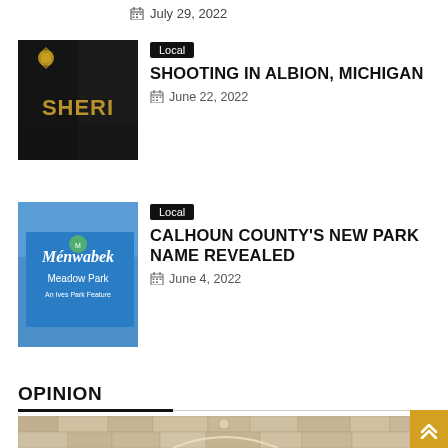July 29, 2022
[Figure (photo): Sheriff vehicle close-up, dark image showing SHERI text on door]
Local
SHOOTING IN ALBION, MICHIGAN
June 22, 2022
[Figure (photo): Blue sign reading Ménwabek Meadow Park, An Ives Park Feature]
Local
CALHOUN COUNTY'S NEW PARK NAME REVEALED
June 4, 2022
OPINION
[Figure (photo): Stone building facade with arched architectural detail and finial, courthouse exterior]